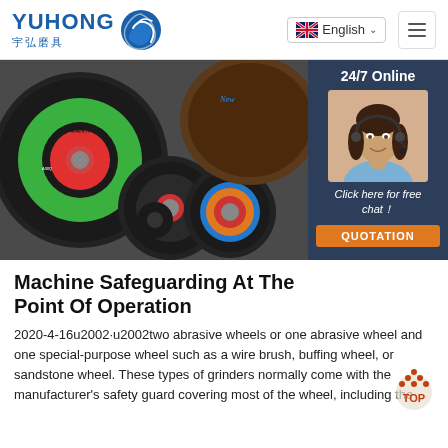YUHONG 宇弘磨具 | English
[Figure (photo): Hero image showing multiple abrasive grinding wheels of various sizes with green, orange, and blue labels, with a customer service agent overlay panel on the right showing '24/7 Online', 'Click here for free chat!', and a 'QUOTATION' button]
Machine Safeguarding At The Point Of Operation
2020-4-16u2002·u2002two abrasive wheels or one abrasive wheel and one special-purpose wheel such as a wire brush, buffing wheel, or sandstone wheel. These types of grinders normally come with the manufacturer's safety guard covering most of the wheel, including the